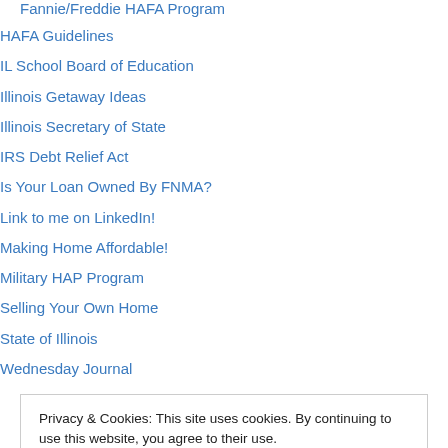HAFA Guidelines
IL School Board of Education
Illinois Getaway Ideas
Illinois Secretary of State
IRS Debt Relief Act
Is Your Loan Owned By FNMA?
Link to me on LinkedIn!
Making Home Affordable!
Military HAP Program
Selling Your Own Home
State of Illinois
Wednesday Journal
Privacy & Cookies: This site uses cookies. By continuing to use this website, you agree to their use. To find out more, including how to control cookies, see here: Cookie Policy
Tinley Park IL Rental Properties